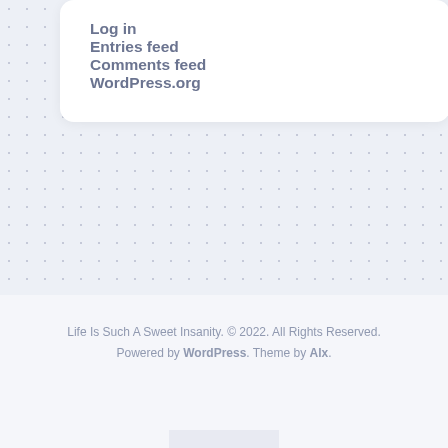Log in
Entries feed
Comments feed
WordPress.org
Life Is Such A Sweet Insanity. © 2022. All Rights Reserved. Powered by WordPress. Theme by Alx.